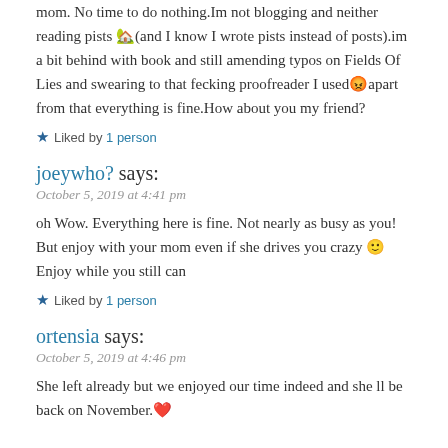mom. No time to do nothing.Im not blogging and neither reading pists 🏡(and I know I wrote pists instead of posts).im a bit behind with book and still amending typos on Fields Of Lies and swearing to that fecking proofreader I used😡apart from that everything is fine.How about you my friend?
★ Liked by 1 person
joeywho? says:
October 5, 2019 at 4:41 pm
oh Wow. Everything here is fine. Not nearly as busy as you! But enjoy with your mom even if she drives you crazy 🙂 Enjoy while you still can
★ Liked by 1 person
ortensia says:
October 5, 2019 at 4:46 pm
She left already but we enjoyed our time indeed and she ll be back on November.❤